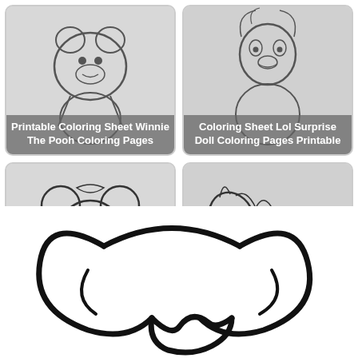[Figure (illustration): Coloring sheet thumbnail of Winnie The Pooh character]
Printable Coloring Sheet Winnie The Pooh Coloring Pages
[Figure (illustration): Coloring sheet thumbnail of LOL Surprise Doll character]
Coloring Sheet Lol Surprise Doll Coloring Pages Printable
[Figure (illustration): Coloring sheet thumbnail of Minnie Mouse]
Free Printable Coloring Sheets Minnie Mouse Coloring Pages
[Figure (illustration): Coloring sheet thumbnail of a horse/pony]
Printable Coloring Pony Life Coloring Pages
[Figure (illustration): Large coloring page illustration of a pretzel or knotted bread shape, black outline on white background]